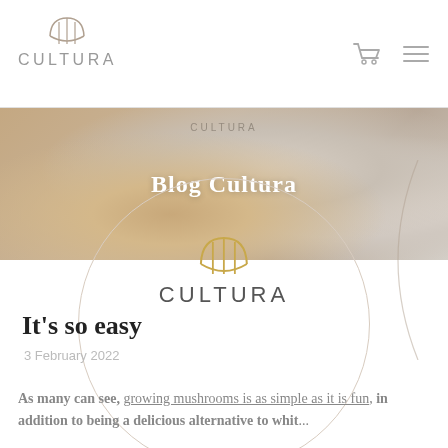CULTURA
[Figure (screenshot): Website screenshot showing Cultura brand page with mushroom hero image, blog title, decorative circle logo overlay, article title 'It's so easy', date '3 February 2022', and introductory text about growing mushrooms]
Blog Cultura
It's so easy
3 February 2022
As many can see, growing mushrooms is as simple as it is fun, in addition to being a delicious alternative to whit...